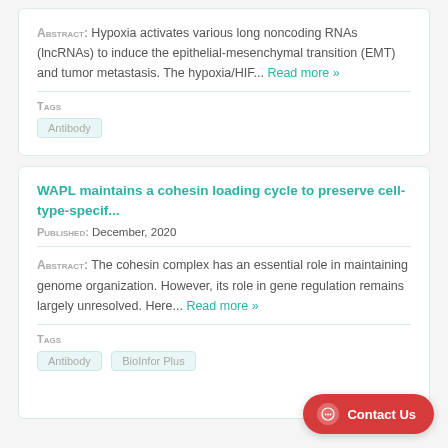Abstract: Hypoxia activates various long noncoding RNAs (lncRNAs) to induce the epithelial-mesenchymal transition (EMT) and tumor metastasis. The hypoxia/HIF... Read more »
Tags
Antibody
WAPL maintains a cohesin loading cycle to preserve cell-type-specif...
Published: December, 2020
Abstract: The cohesin complex has an essential role in maintaining genome organization. However, its role in gene regulation remains largely unresolved. Here... Read more »
Tags
Antibody  BioInfor Plus